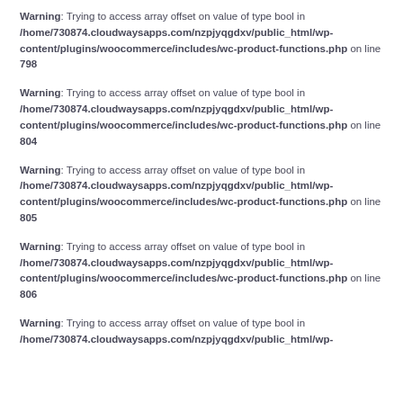Warning: Trying to access array offset on value of type bool in /home/730874.cloudwaysapps.com/nzpjyqgdxv/public_html/wp-content/plugins/woocommerce/includes/wc-product-functions.php on line 798
Warning: Trying to access array offset on value of type bool in /home/730874.cloudwaysapps.com/nzpjyqgdxv/public_html/wp-content/plugins/woocommerce/includes/wc-product-functions.php on line 804
Warning: Trying to access array offset on value of type bool in /home/730874.cloudwaysapps.com/nzpjyqgdxv/public_html/wp-content/plugins/woocommerce/includes/wc-product-functions.php on line 805
Warning: Trying to access array offset on value of type bool in /home/730874.cloudwaysapps.com/nzpjyqgdxv/public_html/wp-content/plugins/woocommerce/includes/wc-product-functions.php on line 806
Warning: Trying to access array offset on value of type bool in /home/730874.cloudwaysapps.com/nzpjyqgdxv/public_html/wp-